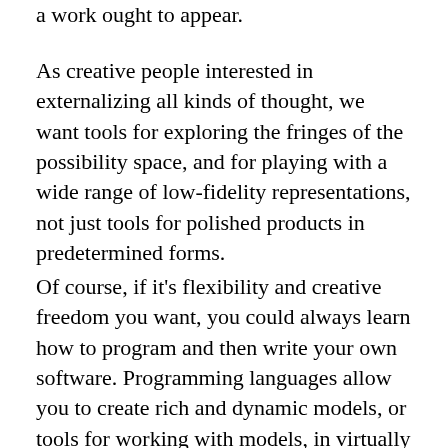a work ought to appear.
As creative people interested in externalizing all kinds of thought, we want tools for exploring the fringes of the possibility space, and for playing with a wide range of low-fidelity representations, not just tools for polished products in predetermined forms.
Of course, if it's flexibility and creative freedom you want, you could always learn how to program and then write your own software. Programming languages allow you to create rich and dynamic models, or tools for working with models, in virtually any form you desire. But programming demands that you represent concepts as long swaths of abstract symbols in text files. You are no longer thinking in terms of the problem you're trying to solve, or the thoughts you want to express